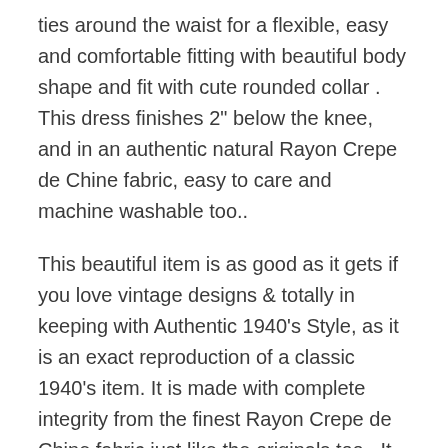ties around the waist for a flexible, easy and comfortable fitting with beautiful body shape and fit with cute rounded collar . This dress finishes 2" below the knee, and in an authentic natural Rayon Crepe de Chine fabric, easy to care and machine washable too..
This beautiful item is as good as it gets if you love vintage designs & totally in keeping with Authentic 1940's Style, as it is an exact reproduction of a classic 1940's item. It is made with complete integrity from the finest Rayon Crepe de Chine fabric just like the originals too.. It is nice and light, soft to the touch, hangs beautifully and easy care too... Wash by hand or in a machine on "Dedicates" setting at 30 degrees
A "Seamstress of Bloomsbury" Original, Simply the best quality fabric, attention to detail and authentic Lilian Wells design. Lilian was the original "Seamstress of Bloomsbury"